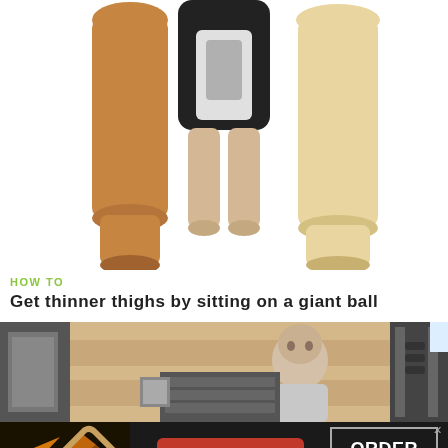[Figure (illustration): Illustration of three pairs of legs representing different body types/skin tones, cropped at torso level against a white background.]
HOW TO
Get thinner thighs by sitting on a giant ball
[Figure (screenshot): Video screenshot of a bald man in a gym setting with weight racks and equipment in the background.]
[Figure (infographic): Seamless food delivery advertisement banner with pizza imagery, Seamless logo button in red, and ORDER NOW box on dark background.]